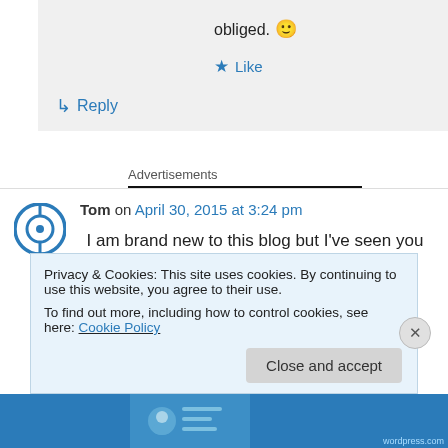obliged. 🙂
★ Like
↳ Reply
Advertisements
Tom on April 30, 2015 at 3:24 pm
I am brand new to this blog but I've seen you
Privacy & Cookies: This site uses cookies. By continuing to use this website, you agree to their use.
To find out more, including how to control cookies, see here: Cookie Policy
Close and accept